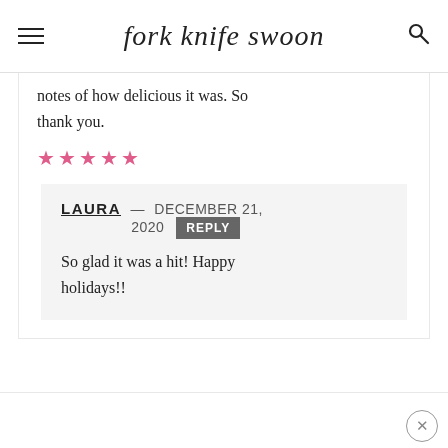fork knife swoon
notes of how delicious it was. So thank you.
★★★★★
LAURA – DECEMBER 21, 2020  REPLY
So glad it was a hit! Happy holidays!!